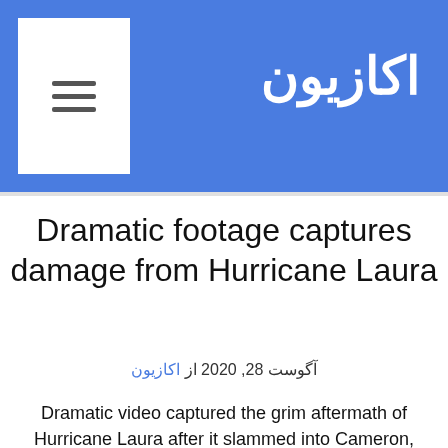اکازیون
Dramatic footage captures damage from Hurricane Laura
آگوست 28, 2020 از اکازیون
Dramatic video captured the grim aftermath of Hurricane Laura after it slammed into Cameron, Louisiana, as a Category 4 monster with ferocious 150 mph winds that unleashed widespread flooding and left